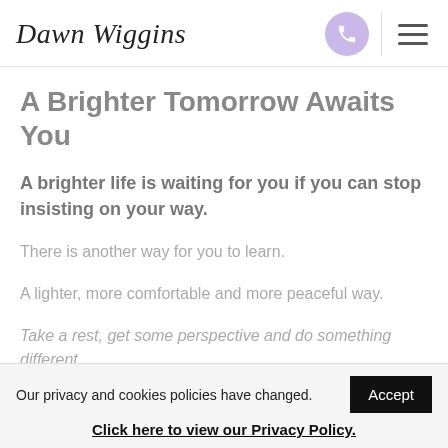Dawn Wiggins
A Brighter Tomorrow Awaits You
A brighter life is waiting for you if you can stop insisting on your way.
There is another way for you to learn.
A lighter, more comfortable and more peaceful way.
Take a rest, get some perspective and do something different.
Our privacy and cookies policies have changed.
Click here to view our Privacy Policy.